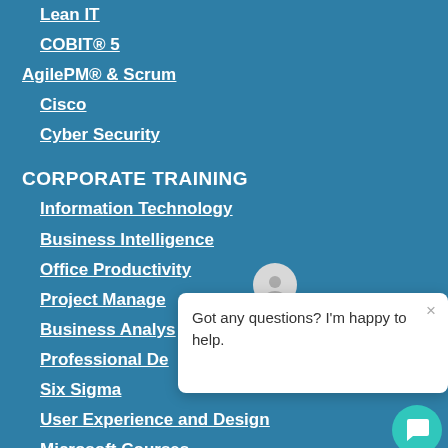Lean IT
COBIT® 5
AgilePM® & Scrum
Cisco
Cyber Security
CORPORATE TRAINING
Information Technology
Business Intelligence
Office Productivity
Project Management
Business Analysis
Professional Development
Six Sigma
User Experience and Design
Microsoft Courses
Copyright and Trademarks
[Figure (screenshot): Chat popup overlay with avatar icon, close button (×), and message text 'Got any questions? I'm happy to help.' with teal chat button at bottom right]